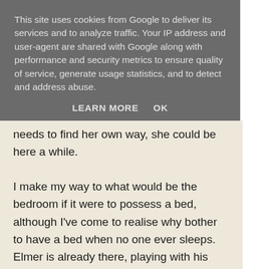This site uses cookies from Google to deliver its services and to analyze traffic. Your IP address and user-agent are shared with Google along with performance and security metrics to ensure quality of service, generate usage statistics, and to detect and address abuse.
LEARN MORE    OK
needs to find her own way, she could be here a while.
I make my way to what would be the bedroom if it were to possess a bed, although I've come to realise why bother to have a bed when no one ever sleeps. Elmer is already there, playing with his wooden yo-yo, he doesn't even look up. 'Elmer!' No response, I hate when he ignores me. 'Elmer!' Focused on the toy as it bounces up and down, up and down 'Hey Elmer, you should put on a coat, you'll catch your